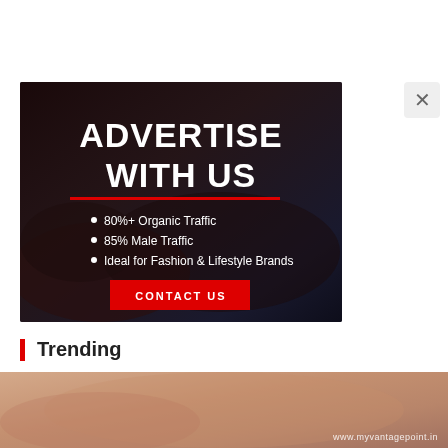[Figure (infographic): Advertisement banner with dark background showing a person lying down. Text reads 'ADVERTISE WITH US' in large white bold letters, followed by a red divider line, bullet points listing '80%+ Organic Traffic', '85% Male Traffic', 'Ideal for Fashion & Lifestyle Brands', and a red 'CONTACT US' button.]
Trending
[Figure (photo): Partial view of a trending article thumbnail image showing a person with warm beige/skin tones. Watermark reads 'www.myvantagepoint.in' in bottom right.]